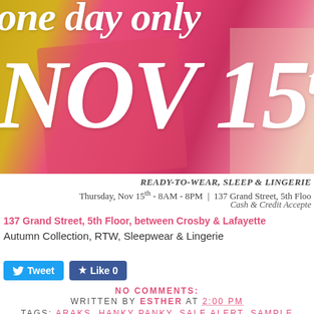[Figure (photo): Photo of clothing on hangers — pink, yellow, and white garments with overlay text 'one day only NOV 15th' in large white italic serif font]
READY-TO-WEAR, SLEEP & LINGERIE
Thursday, Nov 15th - 8AM - 8PM | 137 Grand Street, 5th Floo
Cash & Credit Accepte
137 Grand Street, 5th Floor, between Crosby & Lafayette
Autumn Collection, RTW, Sleepwear & Lingerie
[Figure (other): Tweet and Like social media buttons]
NO COMMENTS:
WRITTEN BY ESTHER AT 2:00 PM
TAGS: ARAKS, HANKY PANKY, SALE ALERT, SAMPLE